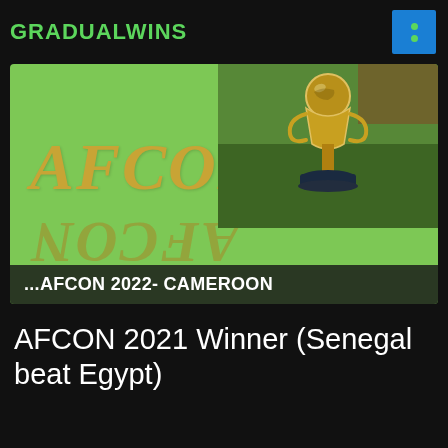GRADUALWINS
[Figure (screenshot): AFCON 2022 Cameroon thumbnail with green background, golden AFCON text with mirror reflection, and a gold trophy photo on the right side. Bottom banner reads: ...AFCON 2022- CAMEROON]
AFCON 2021 Winner (Senegal beat Egypt)